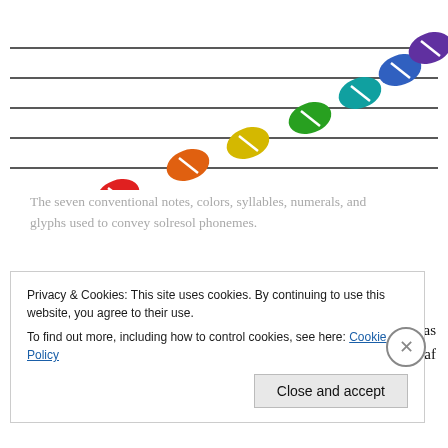[Figure (illustration): Musical staff lines with seven colored oval note glyphs placed at ascending positions along the staff, representing the seven conventional notes of solresol: red, orange, yellow, green, teal, blue, and purple.]
The seven conventional notes, colors, syllables, numerals, and glyphs used to convey solresol phonemes.
The mother of telephone inventor Alexander Graham Bell was deaf, and so his father devised a phonetic alphabet to help deaf people pronounce spoken
Privacy & Cookies: This site uses cookies. By continuing to use this website, you agree to their use.
To find out more, including how to control cookies, see here: Cookie Policy